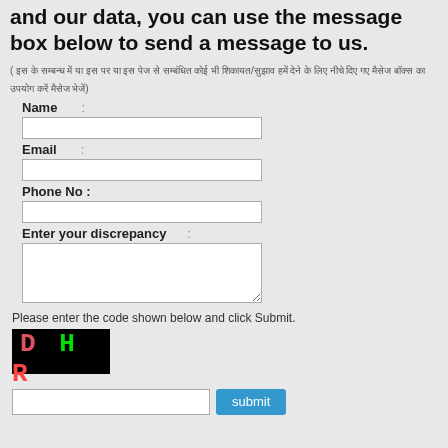and our data, you can use the message box below to send a message to us.
( इस के सम्बन्ध में या इस पर या इस पेज से सम्बंधित कोई भी शिकायत/सुझाव हमें देने के लिए नीचे दिए गए मैसेज बॉक्स का उपयोग करें मैसेज भेजें)
Name :
Email :
Phone No :
Enter your discrepancy :
Please enter the code shown below and click Submit.
[Figure (other): CAPTCHA image showing letters D H R on black background in colored text]
submit